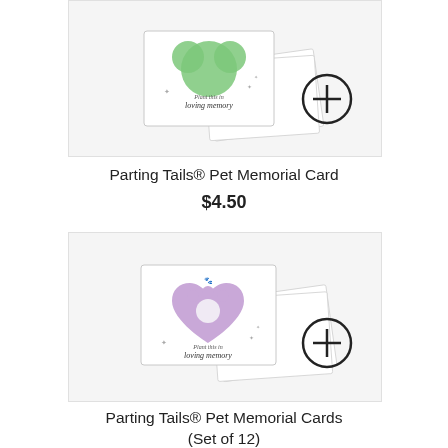[Figure (photo): Parting Tails pet memorial card product photo showing a card with a green leaf/heart shape and 'loving memory' text, with a plus icon button in the bottom right corner]
Parting Tails® Pet Memorial Card
$4.50
[Figure (photo): Parting Tails pet memorial cards product photo showing a card with a purple heart paw print shape and 'loving memory' text, with a plus icon button in the bottom right corner]
Parting Tails® Pet Memorial Cards
(Set of 12)